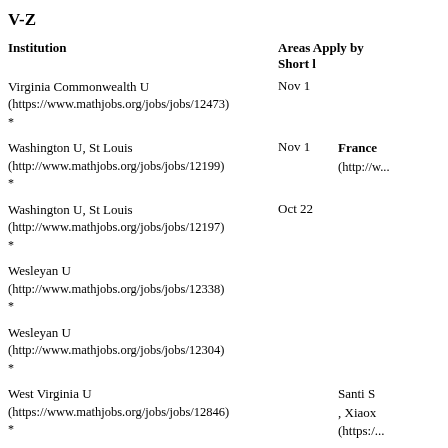V-Z
| Institution | Areas | Apply by | Short l... |
| --- | --- | --- | --- |
| Virginia Commonwealth U
(https://www.mathjobs.org/jobs/jobs/12473)
* | Nov 1 |  |  |
| Washington U, St Louis
(http://www.mathjobs.org/jobs/jobs/12199)
* | Nov 1 |  | France...
(http://w... |
| Washington U, St Louis
(http://www.mathjobs.org/jobs/jobs/12197)
* | Oct 22 |  |  |
| Wesleyan U
(http://www.mathjobs.org/jobs/jobs/12338)
* |  |  |  |
| Wesleyan U
(http://www.mathjobs.org/jobs/jobs/12304)
* |  |  |  |
| West Virginia U
(https://www.mathjobs.org/jobs/jobs/12846)
* |  |  | Santi S...
, Xiaox...
(https:/... |
| Worcester Poly... |  |  |  |